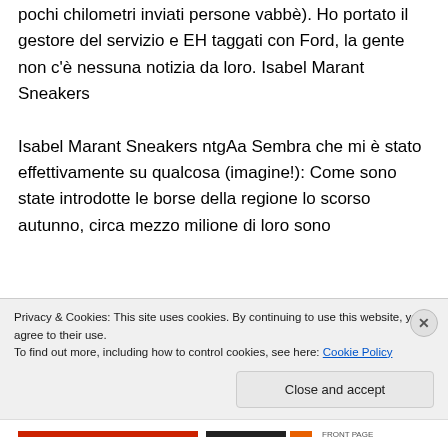pochi chilometri inviati persone vabbè). Ho portato il gestore del servizio e EH taggati con Ford, la gente non c'è nessuna notizia da loro. Isabel Marant Sneakers Isabel Marant Sneakers ntgAa Sembra che mi è stato effettivamente su qualcosa (imagine!): Come sono state introdotte le borse della regione lo scorso autunno, circa mezzo milione di loro sono
Privacy & Cookies: This site uses cookies. By continuing to use this website, you agree to their use.
To find out more, including how to control cookies, see here: Cookie Policy
Close and accept